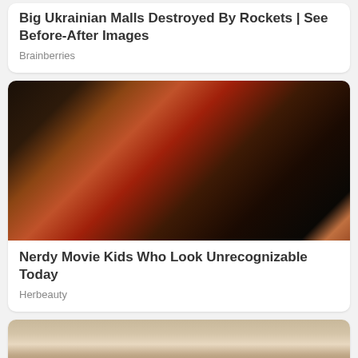Big Ukrainian Malls Destroyed By Rockets | See Before-After Images
Brainberries
[Figure (photo): Young girl in red outfit and red headband in fighting stance with fists up, movie scene]
Nerdy Movie Kids Who Look Unrecognizable Today
Herbeauty
[Figure (photo): Close-up of elderly person with grey/white hair, partially visible at bottom of page]